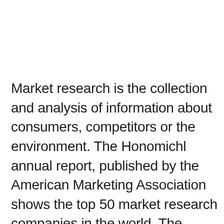Market research is the collection and analysis of information about consumers, competitors or the environment. The Honomichl annual report, published by the American Marketing Association shows the top 50 market research companies in the world. The ranking is based on information collected by 196 nonprofit research organizations. The top five marketing companies in 2009 are Nielsen, Kantar Group (which includes Taylor Nelson Sofres [TNS]), Intercontinental Medical Statistics (IMS),